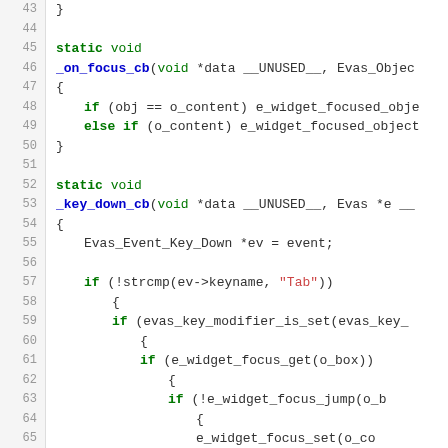Source code listing, lines 43-69, C code for widget focus handling
43  }
44  (empty)
45  static void
46  _on_focus_cb(void *data __UNUSED__, Evas_Objec
47  {
48      if (obj == o_content) e_widget_focused_obje
49      else if (o_content) e_widget_focused_object
50  }
51  (empty)
52  static void
53  _key_down_cb(void *data __UNUSED__, Evas *e __
54  {
55      Evas_Event_Key_Down *ev = event;
56  (empty)
57      if (!strcmp(ev->keyname, "Tab"))
58          {
59              if (evas_key_modifier_is_set(evas_key_
60                  {
61                      if (e_widget_focus_get(o_box))
62                          {
63                              if (!e_widget_focus_jump(o_b
64                                  {
65                                      e_widget_focus_set(o_co
66                                      if (!e_widget_focus_get
67                                          e_widget_focus_set(o
68                                  }
69                  }